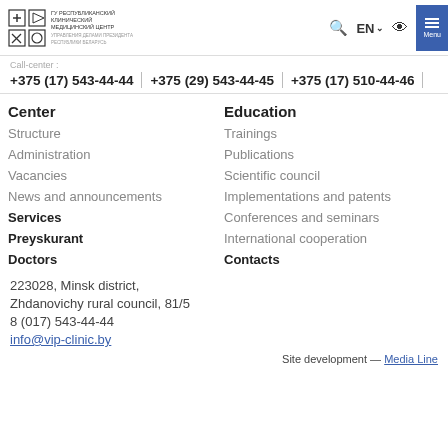ГУ Республиканский клинический медицинский центр
Call-center :
+375 (17) 543-44-44 | +375 (29) 543-44-45 | +375 (17) 510-44-46
Center
Structure
Administration
Vacancies
News and announcements
Services
Preyskurant
Doctors
Education
Trainings
Publications
Scientific council
Implementations and patents
Conferences and seminars
International cooperation
Contacts
223028, Minsk district,
Zhdanovichy rural council, 81/5
8 (017) 543-44-44
info@vip-clinic.by
Site development — Media Line